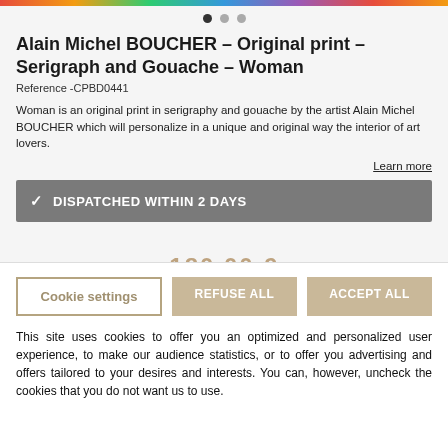[Figure (photo): Colorful artwork image strip at the top of the page]
[Figure (other): Carousel navigation dots, three dots with the first one active]
Alain Michel BOUCHER – Original print – Serigraph and Gouache – Woman
Reference -CPBD0441
Woman is an original print in serigraphy and gouache by the artist Alain Michel BOUCHER which will personalize in a unique and original way the interior of art lovers.
Learn more
✓ DISPATCHED WITHIN 2 DAYS
180,00 €
Cookie settings
REFUSE ALL
ACCEPT ALL
This site uses cookies to offer you an optimized and personalized user experience, to make our audience statistics, or to offer you advertising and offers tailored to your desires and interests. You can, however, uncheck the cookies that you do not want us to use.